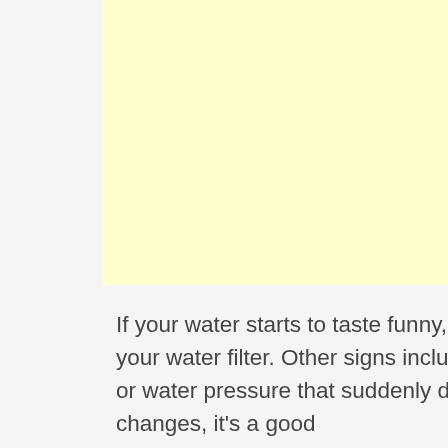[Figure (other): A plain light yellow rectangular box, likely an advertisement or image placeholder.]
If your water starts to taste funny, that's one sign that it's time to change your water filter. Other signs include water that looks cloudy or discolored, or water pressure that suddenly drops. If you notice any of these changes, it's a good